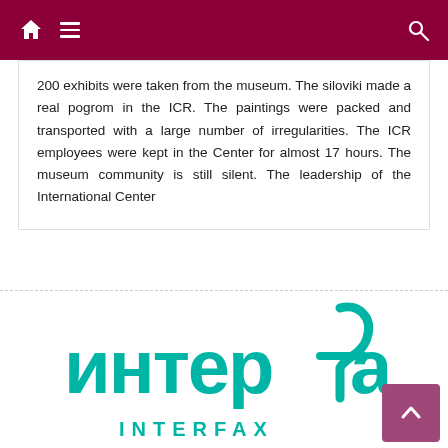Navigation bar with home, menu, and search icons
200 exhibits were taken from the museum. The siloviki made a real pogrom in the ICR. The paintings were packed and transported with a large number of irregularities. The ICR employees were kept in the Center for almost 17 hours. The museum community is still silent. The leadership of the International Center
[Figure (logo): Interfax news agency logo: Cyrillic text 'интерфакс' in teal/turquoise with stylized script character, with 'INTERFAX' below in teal capitals]